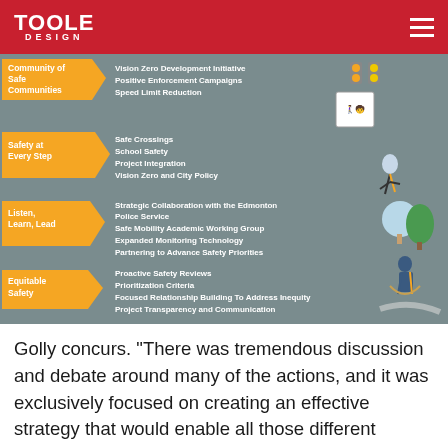TOOLE DESIGN
[Figure (infographic): Infographic showing four safety strategy categories: Community of Safe Communities (Vision Zero Development Initiative, Positive Enforcement Campaigns, Speed Limit Reduction), Safety at Every Step (Safe Crossings, School Safety, Project Integration, Vision Zero and City Policy), Listen, Learn, Lead (Strategic Collaboration with the Edmonton Police Service, Safe Mobility Academic Working Group, Expanded Monitoring Technology, Partnering to Advance Safety Priorities), Equitable Safety (Proactive Safety Reviews, Prioritization Criteria, Focused Relationship Building To Address Inequity, Project Transparency and Communication). Right side shows illustrated figures of people walking, jumping rope, and trees with road safety signs.]
Golly concurs. "There was tremendous discussion and debate around many of the actions, and it was exclusively focused on creating an effective strategy that would enable all those different departments and branches to contribute to safe